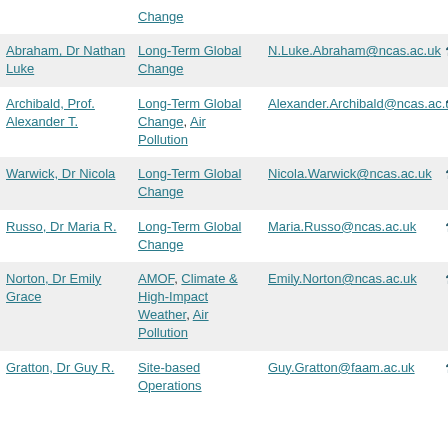| Name | Group | Email | Phone |
| --- | --- | --- | --- |
| Change | Long-Term Global Change |  | +44 1 |
| Abraham, Dr Nathan Luke | Long-Term Global Change | N.Luke.Abraham@ncas.ac.uk | +44 1 |
| Archibald, Prof. Alexander T. | Long-Term Global Change, Air Pollution | Alexander.Archibald@ncas.ac.uk | +44 1 |
| Warwick, Dr Nicola | Long-Term Global Change | Nicola.Warwick@ncas.ac.uk | +44 1 |
| Russo, Dr Maria R. | Long-Term Global Change | Maria.Russo@ncas.ac.uk | +44 1 |
| Norton, Dr Emily Grace | AMOF, Climate & High-Impact Weather, Air Pollution | Emily.Norton@ncas.ac.uk | +44 1 |
| Gratton, Dr Guy R. | Site-based Operations | Guy.Gratton@faam.ac.uk | +44 1 |